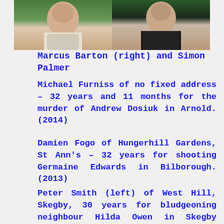[Figure (photo): Two headshot photos side by side: left photo shows a man (Marcus Barton) against a green background, right photo shows a man (Simon Palmer) in dark clothing against a green background.]
Marcus Barton (right) and Simon Palmer
Michael Furniss of no fixed address – 32 years and 11 months for the murder of Andrew Dosiuk in Arnold. (2014)
Damien Fogo of Hungerhill Gardens, St Ann's – 32 years for shooting Germaine Edwards in Bilborough. (2013)
Peter Smith (left) of West Hill, Skegby, 30 years for bludgeoning neighbour Hilda Owen in Skegby after writing her will and leaving everything to him. He was sentenced in 2008, and his